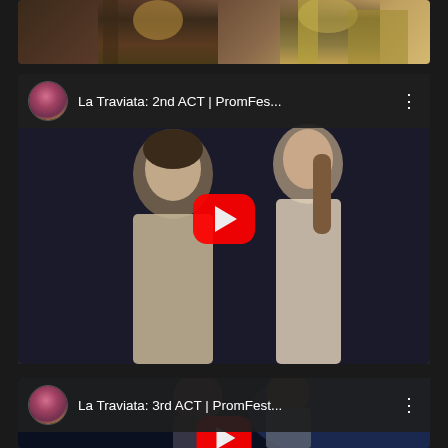[Figure (screenshot): Partial YouTube video thumbnail showing opera performers on stage with colorful costumes, cropped at top of page]
[Figure (screenshot): YouTube video card for 'La Traviata: 2nd ACT | PromFes...' showing two opera performers, a man in beige jacket and woman with braided hair, with YouTube play button overlay and channel avatar]
[Figure (screenshot): YouTube video card for 'La Traviata: 3rd ACT | PromFest...' showing two performers in dramatic embrace with blue stage lighting, with YouTube play button overlay and channel avatar, partially cut off at bottom]